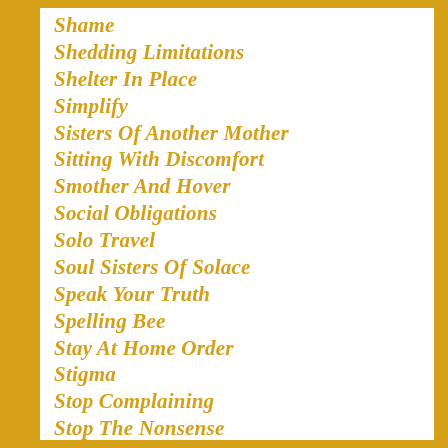Shame
Shedding Limitations
Shelter In Place
Simplify
Sisters Of Another Mother
Sitting With Discomfort
Smother And Hover
Social Obligations
Solo Travel
Soul Sisters Of Solace
Speak Your Truth
Spelling Bee
Stay At Home Order
Stigma
Stop Complaining
Stop The Nonsense
Stop The Stigma
Stress